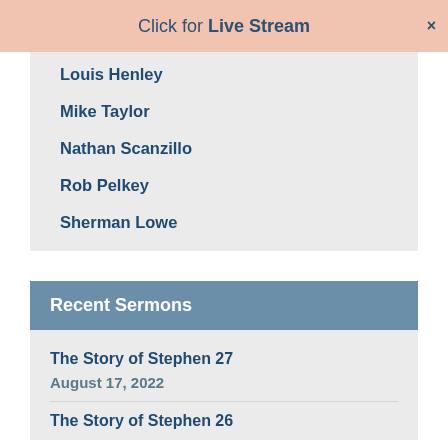Click for Live Stream ×
Louis Henley
Mike Taylor
Nathan Scanzillo
Rob Pelkey
Sherman Lowe
Recent Sermons
The Story of Stephen 27
August 17, 2022
The Story of Stephen 26